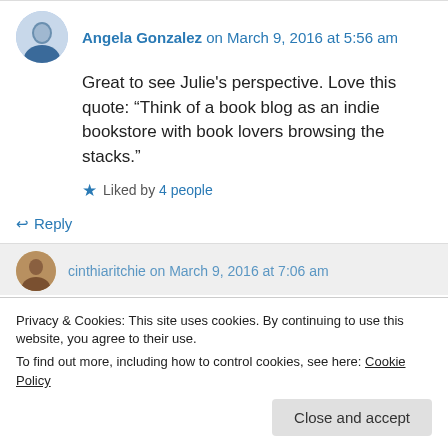Angela Gonzalez on March 9, 2016 at 5:56 am
Great to see Julie's perspective. Love this quote: “Think of a book blog as an indie bookstore with book lovers browsing the stacks.”
Liked by 4 people
↵ Reply
cinthiaritchie on March 9, 2016 at 7:06 am
Privacy & Cookies: This site uses cookies. By continuing to use this website, you agree to their use.
To find out more, including how to control cookies, see here: Cookie Policy